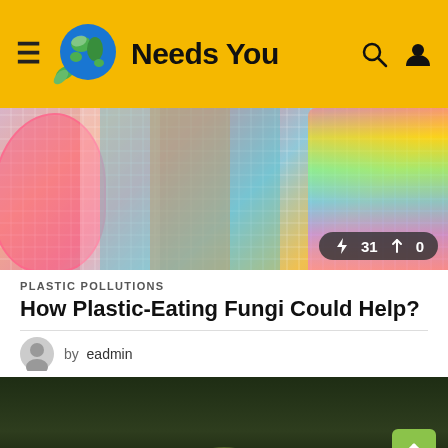Needs You — site navigation header with globe logo, hamburger menu, search and user icons
[Figure (photo): Colorful mesh shopping bags and plastic bags hanging, with a dark stats badge showing lightning bolt 31 and arrow 0]
PLASTIC POLLUTIONS
How Plastic-Eating Fungi Could Help?
by eadmin
[Figure (photo): Dark image of fungi/mushrooms growing, with a green scroll-to-top arrow button in the bottom right corner]